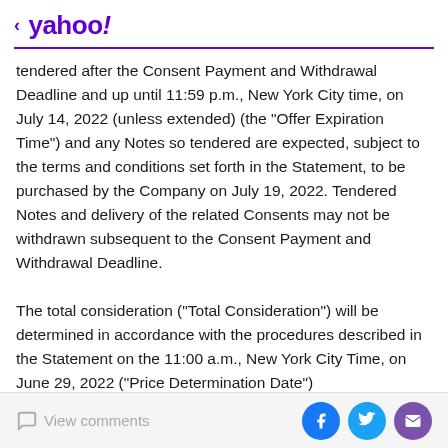< yahoo!
tendered after the Consent Payment and Withdrawal Deadline and up until 11:59 p.m., New York City time, on July 14, 2022 (unless extended) (the "Offer Expiration Time") and any Notes so tendered are expected, subject to the terms and conditions set forth in the Statement, to be purchased by the Company on July 19, 2022. Tendered Notes and delivery of the related Consents may not be withdrawn subsequent to the Consent Payment and Withdrawal Deadline.
The total consideration ("Total Consideration") will be determined in accordance with the procedures described in the Statement on the 11:00 a.m., New York City Time, on June 29, 2022 ("Price Determination Date")
View comments